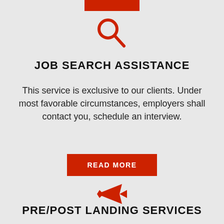[Figure (illustration): Red search/magnifying glass icon]
JOB SEARCH ASSISTANCE
This service is exclusive to our clients. Under most favorable circumstances, employers shall contact you, schedule an interview.
[Figure (illustration): Red READ MORE button with airplane icon below]
PRE/POST LANDING SERVICES